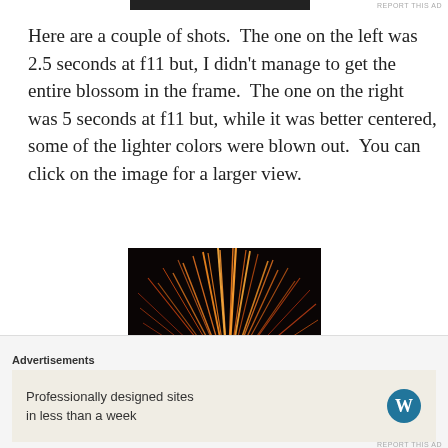[Figure (other): Dark advertisement banner bar at top]
REPORT THIS AD
Here are a couple of shots.  The one on the left was 2.5 seconds at f11 but, I didn't manage to get the entire blossom in the frame.  The one on the right was 5 seconds at f11 but, while it was better centered, some of the lighter colors were blown out.  You can click on the image for a larger view.
[Figure (photo): Fireworks photo showing orange/red firework blossom against black night sky]
Advertisements
Professionally designed sites in less than a week
REPORT THIS AD